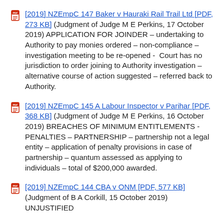[2019] NZEmpC 147 Baker v Hauraki Rail Trail Ltd [PDF, 273 KB] (Judgment of Judge M E Perkins, 17 October 2019) APPLICATION FOR JOINDER – undertaking to Authority to pay monies ordered – non-compliance –investigation meeting to be re-opened - Court has no jurisdiction to order joining to Authority investigation – alternative course of action suggested – referred back to Authority.
[2019] NZEmpC 145 A Labour Inspector v Parihar [PDF, 368 KB] (Judgment of Judge M E Perkins, 16 October 2019) BREACHES OF MINIMUM ENTITLEMENTS - PENALTIES – PARTNERSHIP – partnership not a legal entity – application of penalty provisions in case of partnership – quantum assessed as applying to individuals – total of $200,000 awarded.
[2019] NZEmpC 144 CBA v ONM [PDF, 577 KB] (Judgment of B A Corkill, 15 October 2019) UNJUSTIFIED